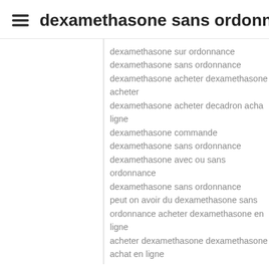dexamethasone sans ordonn…
dexamethasone sur ordonnance
dexamethasone sans ordonnance
dexamethasone acheter dexamethasone acheter
dexamethasone acheter decadron achat en ligne
dexamethasone commande
dexamethasone sans ordonnance
dexamethasone avec ou sans ordonnance
dexamethasone sans ordonnance
peut on avoir du dexamethasone sans ordonnance acheter dexamethasone en ligne
acheter dexamethasone dexamethasone achat en ligne
dexamethasone sur ordonnance decadron achat en ligne
dexamethasone acheter dexamethasone mg achat
dexamethasone sur ordonnance acheter dexamethasone en ligne
dexamethasone en ligne
acheter dexamethasone comprime
dexamethasone commande